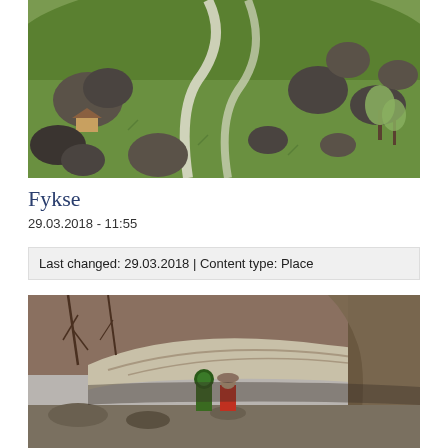[Figure (photo): Aerial or elevated view of a green meadow landscape with large boulders and rocks scattered across rolling hills, a winding road, and a small farmhouse or building in the background. Trees visible on the right side.]
Fykse
29.03.2018 - 11:55
Last changed: 29.03.2018 | Content type: Place
[Figure (photo): Outdoor photo showing two people standing beside or under a massive overhanging rock or boulder in a rocky cliffside area. One person wears a green hat/umbrella, the other wears red. Winter or early spring bare trees visible in the background.]